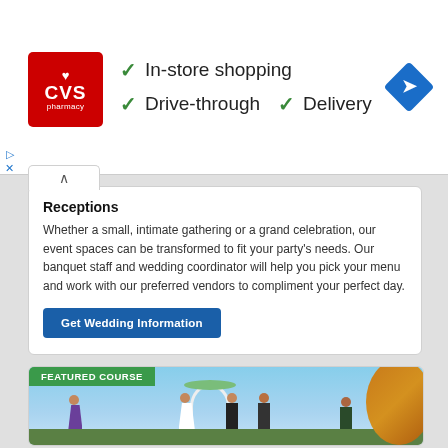[Figure (screenshot): CVS Pharmacy advertisement banner showing logo and store features: In-store shopping, Drive-through, Delivery with green checkmarks and a blue navigation diamond icon]
Receptions
Whether a small, intimate gathering or a grand celebration, our event spaces can be transformed to fit your party's needs. Our banquet staff and wedding coordinator will help you pick your menu and work with our preferred vendors to compliment your perfect day.
Get Wedding Information
[Figure (photo): Wedding ceremony scene outdoors with bridal party, arch decorated with flowers, officiator, and guests. Green 'FEATURED COURSE' badge in top left corner.]